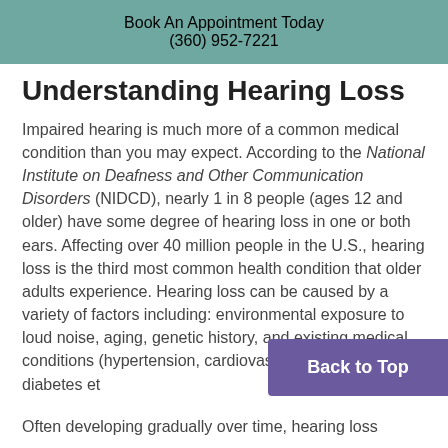Book An Appointment Today
(360) 952-7221
Understanding Hearing Loss
Impaired hearing is much more of a common medical condition than you may expect. According to the National Institute on Deafness and Other Communication Disorders (NIDCD), nearly 1 in 8 people (ages 12 and older) have some degree of hearing loss in one or both ears. Affecting over 40 million people in the U.S., hearing loss is the third most common health condition that older adults experience. Hearing loss can be caused by a variety of factors including: environmental exposure to loud noise, aging, genetic history, and existing medical conditions (hypertension, cardiovascular disease, diabetes et…
Often developing gradually over time, hearing loss